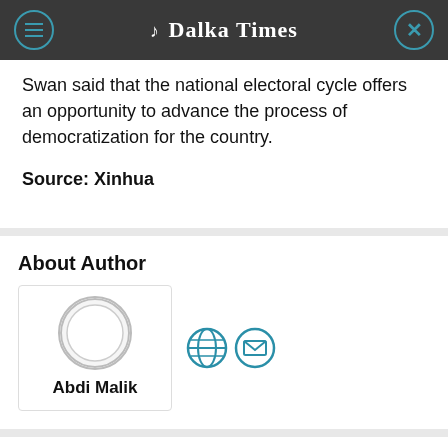Dalka Times
Swan said that the national electoral cycle offers an opportunity to advance the process of democratization for the country.
Source: Xinhua
About Author
Abdi Malik
Related Articles
Somalia: All five regional governments cut ties with the Somalia Ministry of Finance